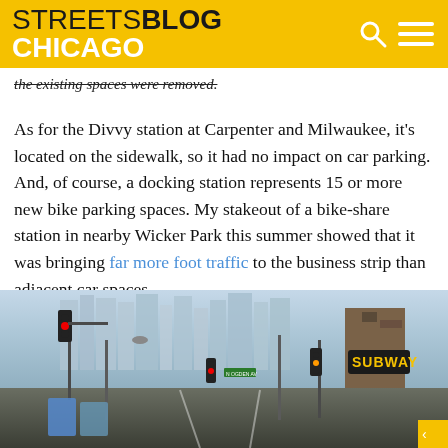STREETSBLOG CHICAGO
the existing spaces were removed.
As for the Divvy station at Carpenter and Milwaukee, it's located on the sidewalk, so it had no impact on car parking. And, of course, a docking station represents 15 or more new bike parking spaces. My stakeout of a bike-share station in nearby Wicker Park this summer showed that it was bringing far more foot traffic to the business strip than adjacent car spaces.
[Figure (photo): Street-level photo of a Chicago urban intersection with traffic lights, street signs, storefronts including a Subway restaurant, and the Chicago skyline visible in the background on a hazy day.]